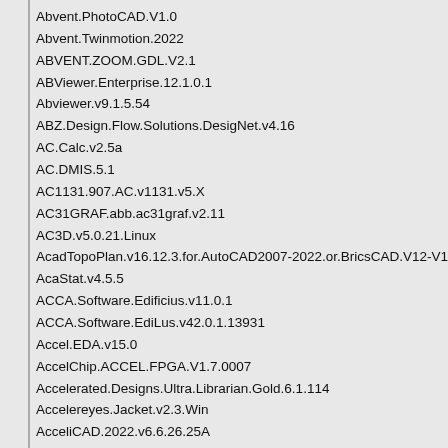Abvent.PhotoCAD.V1.0
Abvent.Twinmotion.2022
ABVENT.ZOOM.GDL.V2.1
ABViewer.Enterprise.12.1.0.1
Abviewer.v9.1.5.54
ABZ.Design.Flow.Solutions.DesigNet.v4.16
AC.Calc.v2.5a
AC.DMIS.5.1
AC1131.907.AC.v1131.v5.X
AC31GRAF.abb.ac31graf.v2.11
AC3D.v5.0.21.Linux
AcadTopoPlan.v16.12.3.for.AutoCAD2007-2022.or.BricsCAD.V12-V16
AcaStat.v4.5.5
ACCA.Software.Edificius.v11.0.1
ACCA.Software.EdiLus.v42.0.1.13931
Accel.EDA.v15.0
AccelChip.ACCEL.FPGA.V1.7.0007
Accelerated.Designs.Ultra.Librarian.Gold.6.1.114
Accelereyes.Jacket.v2.3.Win
AcceliCAD.2022.v6.6.26.25A
Accelrys.Discovery.Studio.v2.55
Accelrys.DS.Gene.v1.1.2.3
Accelrys.DS.ViewerPro.Suite.V5.1
ACCELRYS.FELIX.DESKTOP.2004
Accelrys.insight.II.2005.Linux